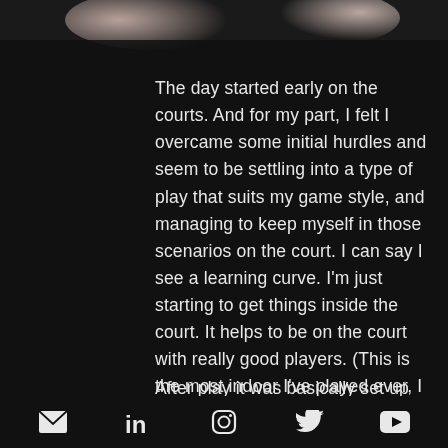[Figure (photo): Blurred background image at top of page, showing a partial view with beige/skin tones]
The day started early on the courts. And for my part, I felt I overcame some initial hurdles and seem to be settling into a type of play that suits my game style, and managing to keep myself in those scenarios on the court. I can say I see a learning curve. I'm just starting to get things inside the court. It helps to be on the court with really good players. (This is the most indoor I've played ever, I have to work some things out when I get back to the States.)
After play it was basically set up day at
Email | LinkedIn | Instagram | Twitter | YouTube social media icons